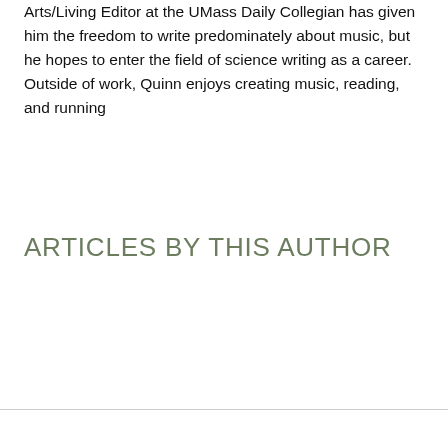Arts/Living Editor at the UMass Daily Collegian has given him the freedom to write predominately about music, but he hopes to enter the field of science writing as a career. Outside of work, Quinn enjoys creating music, reading, and running
ARTICLES BY THIS AUTHOR